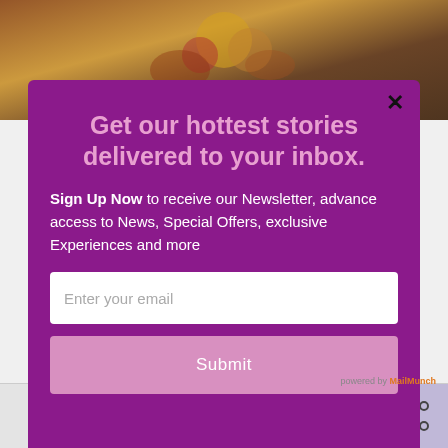[Figure (screenshot): Background image of decorative holiday items, partially obscured by modal overlay]
Get our hottest stories delivered to your inbox.
Sign Up Now to receive our Newsletter, advance access to News, Special Offers, exclusive Experiences and more
Enter your email
Submit
We'll assume you're ok with this, but you can opt-out if
powered by MailMunch